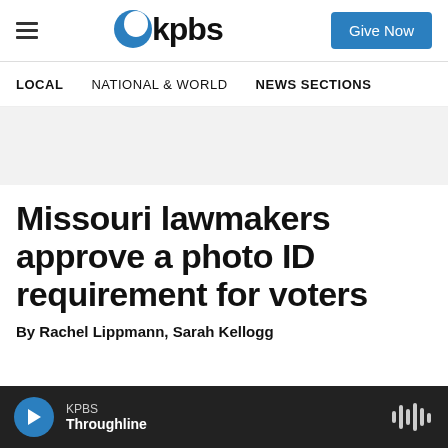KPBS — Give Now
LOCAL   NATIONAL & WORLD   NEWS SECTIONS
Missouri lawmakers approve a photo ID requirement for voters
By Rachel Lippmann, Sarah Kellogg
KPBS Throughline